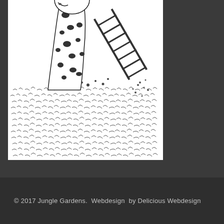[Figure (illustration): Black and white pen/ink illustration of a cartoon giraffe head and neck emerging from a dense textured field (grass or fur pattern). The giraffe has large eyes, a beak-like mouth, spotted neck pattern. To the upper right is a wooden fence/ladder structure at an angle. The lower portion is filled with dense hatching marks suggesting grass or a crowd.]
© 2017 Jungle Gardens.  Webdesign  by Delicious Webdesign